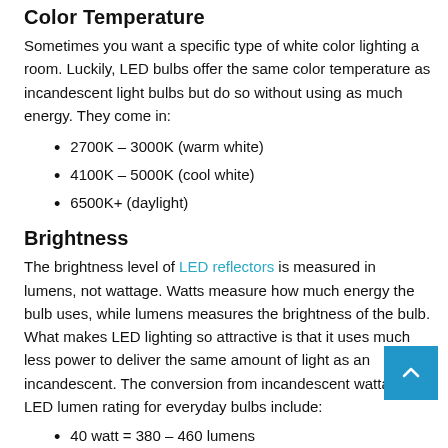Color Temperature
Sometimes you want a specific type of white color lighting a room. Luckily, LED bulbs offer the same color temperature as incandescent light bulbs but do so without using as much energy. They come in:
2700K – 3000K (warm white)
4100K – 5000K (cool white)
6500K+ (daylight)
Brightness
The brightness level of LED reflectors is measured in lumens, not wattage. Watts measure how much energy the bulb uses, while lumens measures the brightness of the bulb. What makes LED lighting so attractive is that it uses much less power to deliver the same amount of light as an incandescent. The conversion from incandescent wattage to LED lumen rating for everyday bulbs include:
40 watt = 380 – 460 lumens